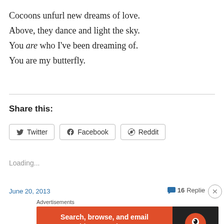Cocoons unfurl new dreams of love.
Above, they dance and light the sky.
You are who I've been dreaming of.
You are my butterfly.
Share this:
Twitter  Facebook  Reddit
Loading...
June 20, 2013
16 Replies
Advertisements
[Figure (other): DuckDuckGo advertisement banner: 'Search, browse, and email with more privacy. All in One Free App' with DuckDuckGo logo on dark background.]